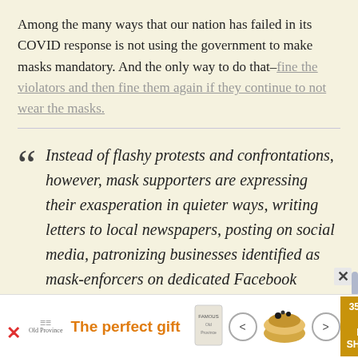Among the many ways that our nation has failed in its COVID response is not using the government to make masks mandatory. And the only way to do that–fine the violators and then fine them again if they continue to not wear the masks.
Instead of flashy protests and confrontations, however, mask supporters are expressing their exasperation in quieter ways, writing letters to local newspapers, posting on social media, patronizing businesses identified as mask-enforcers on dedicated Facebook groups and urging state and local officials to mandate mask-
[Figure (other): Advertisement banner: 'The perfect gift' with food product images, navigation arrows, and '35% OFF + FREE SHIPPING' offer badge]